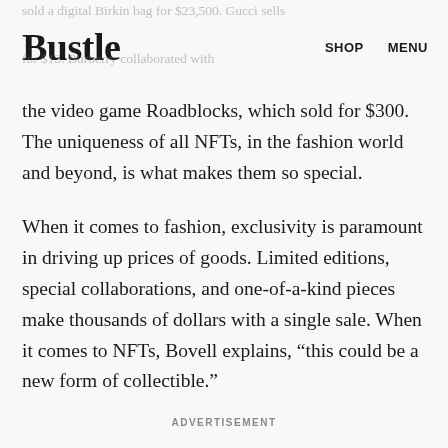Bustle | SHOP MENU
the video game Roadblocks, which sold for $300. The uniqueness of all NFTs, in the fashion world and beyond, is what makes them so special.
When it comes to fashion, exclusivity is paramount in driving up prices of goods. Limited editions, special collaborations, and one-of-a-kind pieces make thousands of dollars with a single sale. When it comes to NFTs, Bovell explains, “this could be a new form of collectible.”
ADVERTISEMENT